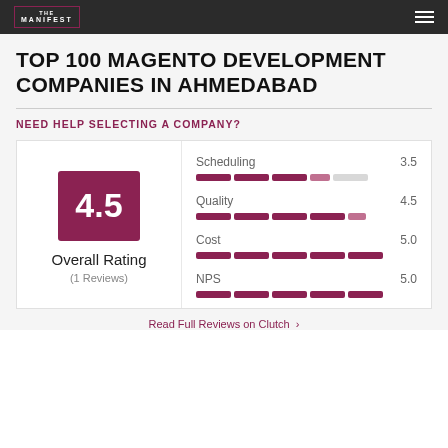THE MANIFEST
TOP 100 MAGENTO DEVELOPMENT COMPANIES IN AHMEDABAD
NEED HELP SELECTING A COMPANY?
[Figure (infographic): Rating card showing Overall Rating of 4.5 (1 Reviews) with sub-ratings: Scheduling 3.5, Quality 4.5, Cost 5.0, NPS 5.0, each displayed as a segmented bar chart.]
Read Full Reviews on Clutch >